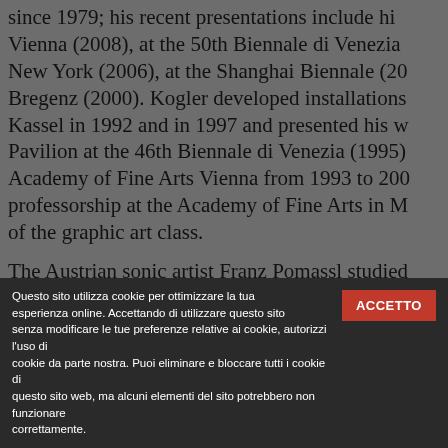since 1979; his recent presentations include hi Vienna (2008), at the 50th Biennale di Venezia New York (2006), at the Shanghai Biennale (20 Bregenz (2000). Kogler developed installations Kassel in 1992 and in 1997 and presented his w Pavilion at the 46th Biennale di Venezia (1995) Academy of Fine Arts Vienna from 1993 to 200 professorship at the Academy of Fine Arts in M of the graphic art class.
The Austrian sonic artist Franz Pomassl studied the Academy of Fine Arts Vienna and with Pete of Music and Performing Arts Vienna, a.o. The fathom the limits of the human sense of hearing and aim at extending the range of our auditory works comprise electronic and digital experime architectural sonic spaces, performances, and Defamiliarizing the spaces he constructs in his systems, he envelons the visitor with sound in
Questo sito utilizza cookie per ottimizzare la tua esperienza online. Accettando di utilizzare questo sito senza modificare le tue preferenze relative ai cookie, autorizzi l'uso di cookie da parte nostra. Puoi eliminare e bloccare tutti i cookie di questo sito web, ma alcuni elementi del sito potrebbero non funzionare correttamente.